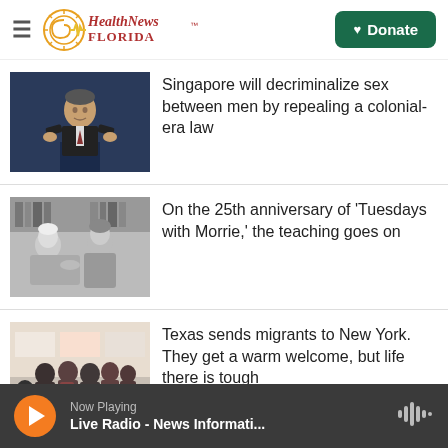Health News Florida — Donate
[Figure (photo): Photo of a man in a suit speaking at a podium]
Singapore will decriminalize sex between men by repealing a colonial-era law
[Figure (photo): Black and white photo of two people sitting together, one elderly]
On the 25th anniversary of 'Tuesdays with Morrie,' the teaching goes on
[Figure (photo): Photo of migrants from behind in a crowd at a bus station]
Texas sends migrants to New York. They get a warm welcome, but life there is tough
Now Playing — Live Radio - News Informati...